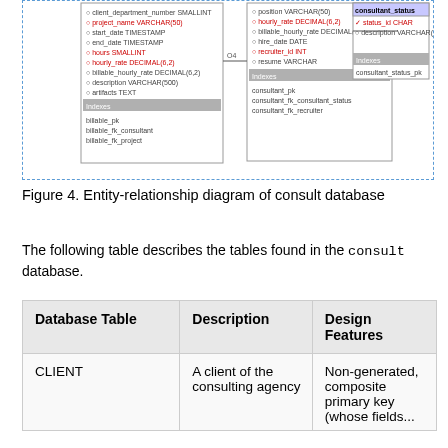[Figure (engineering-diagram): Entity-relationship diagram showing database tables including billable, consultant, consultant_status entities with their fields and relationships indicated by connecting lines.]
Figure 4. Entity-relationship diagram of consult database
The following table describes the tables found in the consult database.
| Database Table | Description | Design Features |
| --- | --- | --- |
| CLIENT | A client of the consulting agency | Non-generated, composite primary key (whose fields... |